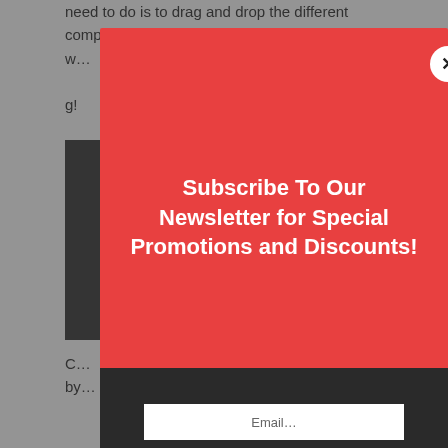need to do is to drag and drop the different components on the page and change the text s… w… g!
[Figure (screenshot): Dark background with partial screenshot of a webpage with green and orange elements visible.]
C… by…
[Figure (screenshot): Red popup modal overlay on a webpage. The modal has a white X close button in the top right corner, bold white headline text reading 'Subscribe To Our Newsletter for Special Promotions and Discounts!', subtext reading 'Join our mailing list to receive the latest news and updates from our team.', and a dark footer area with a white email input field.]